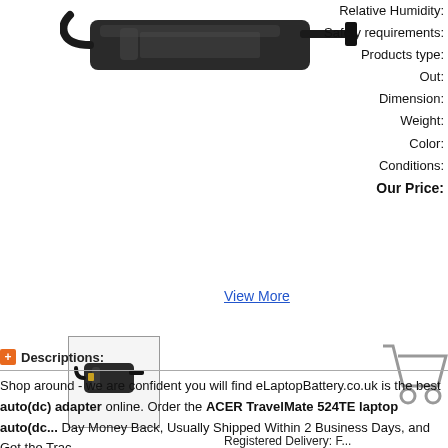[Figure (photo): Product image of a laptop auto(dc) adapter/charger, black color, viewed from top]
View More
[Figure (photo): Thumbnail image of the laptop auto(dc) adapter product]
[Figure (photo): Shopping cart icon]
Relative Humidity:
Safety requirements:
Products type:
Out:
Dimension:
Weight:
Color:
Conditions:
Our Price:
Registered Delivery: P...
Expected Delivery Tim...
May require more time...
Descriptions:
Shop around - we are confident you will find eLaptopBattery.co.uk is the best auto(dc) adapter online. Order the ACER TravelMate 524TE laptop auto(dc... Day Money Back, Usually Shipped Within 2 Business Days, and Get the Trac...